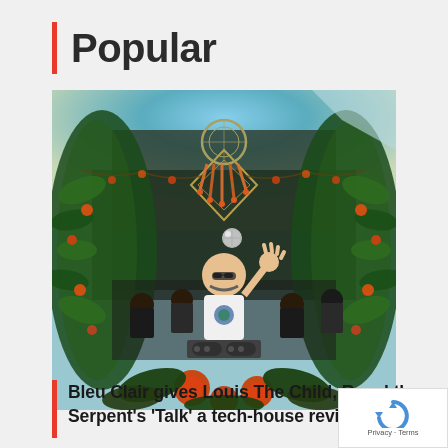Popular
[Figure (photo): DJ performing at an outdoor festival venue decorated with tropical flowers, palm leaves, hanging vines and orange blooms forming an arch. The DJ is wearing a white t-shirt and sunglasses, waving to the crowd. A disco mirror ball hangs above. Crowd is visible in background. Fish-eye lens effect.]
Bleu Clair gives Louis The Child, Royal the Serpent’s ‘Talk’ a tech-house revision